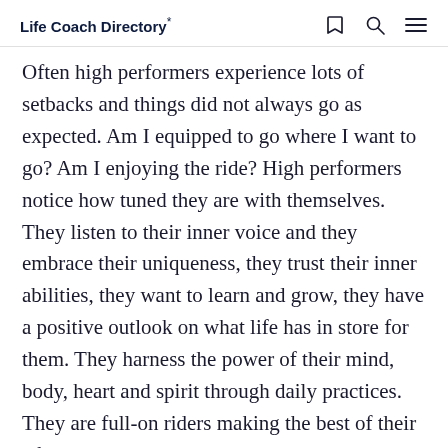Life Coach Directory*
Often high performers experience lots of setbacks and things did not always go as expected. Am I equipped to go where I want to go? Am I enjoying the ride? High performers notice how tuned they are with themselves. They listen to their inner voice and they embrace their uniqueness, they trust their inner abilities, they want to learn and grow, they have a positive outlook on what life has in store for them. They harness the power of their mind, body, heart and spirit through daily practices. They are full-on riders making the best of their life.

How about you?